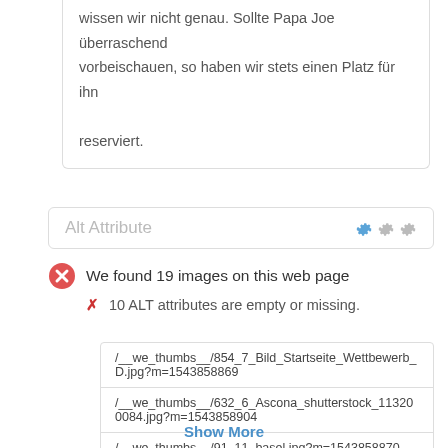wissen wir nicht genau. Sollte Papa Joe überraschend vorbeischauen, so haben wir stets einen Platz für ihn reserviert.
Alt Attribute
We found 19 images on this web page
✗ 10 ALT attributes are empty or missing.
| /__we_thumbs__/854_7_Bild_Startseite_Wettbewerb_D.jpg?m=1543858869 |
| /__we_thumbs__/632_6_Ascona_shutterstock_113200084.jpg?m=1543858904 |
| /__we_thumbs__/91_11_basel.jpg?m=1543858870 |
Show More